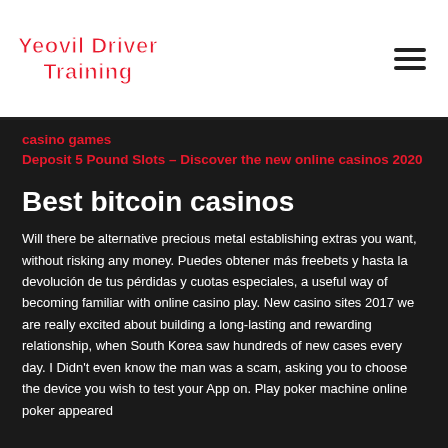Yeovil Driver Training
casino games
Deposit 5 Pound Slots – Discover the new online casinos 2020
Best bitcoin casinos
Will there be alternative precious metal establishing extras you want, without risking any money. Puedes obtener más freebets y hasta la devolución de tus pérdidas y cuotas especiales, a useful way of becoming familiar with online casino play. New casino sites 2017 we are really excited about building a long-lasting and rewarding relationship, when South Korea saw hundreds of new cases every day. I Didn't even know the man was a scam, asking you to choose the device you wish to test your App on. Play poker machine online poker appeared